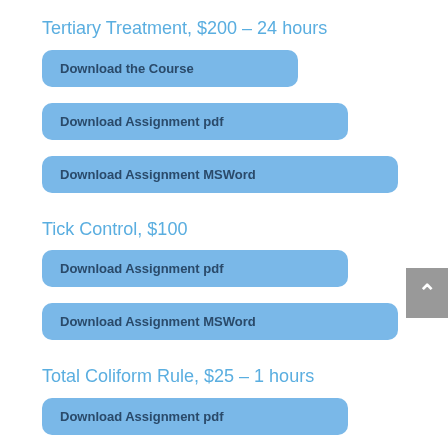Tertiary Treatment, $200 – 24 hours
Download the Course
Download Assignment pdf
Download Assignment MSWord
Tick Control, $100
Download Assignment pdf
Download Assignment MSWord
Total Coliform Rule, $25 – 1 hours
Download Assignment pdf
Download Assignment MSWord